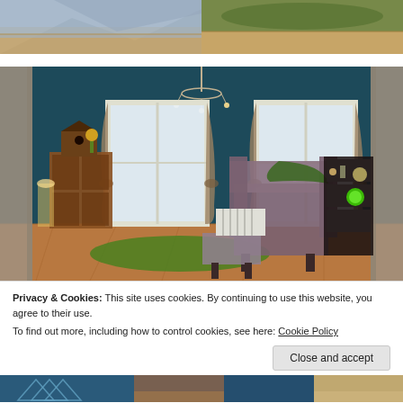[Figure (photo): Two cropped photos side by side at top: left shows blue/gray fabric or couch with wood floor, right shows green shag rug on wood floor]
[Figure (photo): Interior photo of a living room with dark teal walls, chandelier, two windows with draped curtains, a wingback armchair with green throw, wooden cabinet, radiator, bookshelf, and green area rug on hardwood floor]
Privacy & Cookies: This site uses cookies. By continuing to use this website, you agree to their use.
To find out more, including how to control cookies, see here: Cookie Policy
[Figure (photo): Row of partial thumbnail images at the bottom of the page showing home decor photos]